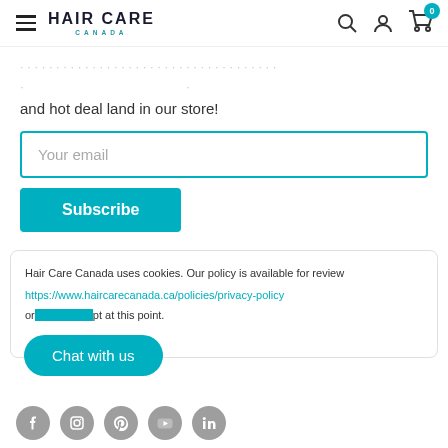HAIR CARE CANADA
and hot deal land in our store!
Your email
Subscribe
Hair Care Canada uses cookies. Our policy is available for review https://www.haircarecanada.ca/policies/privacy-policy or ... at this point.
Chat with us